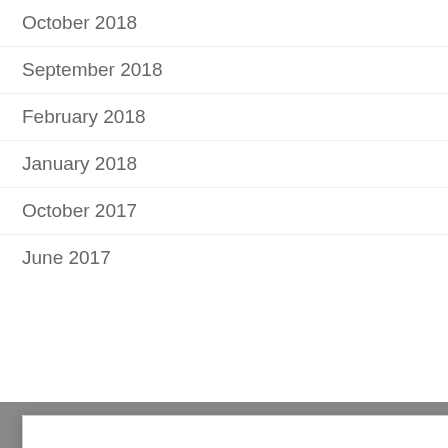October 2018
September 2018
February 2018
January 2018
October 2017
June 2017
We use cookies on our website to give you the most relevant experience by remembering your preferences and repeat visits. By clicking “Accept All”, you consent to the use of ALL the cookies. However, you may visit “Cookie Settings” to provide a controlled consent.
Cookie Settings
Accept All
Share This ⌄ ×